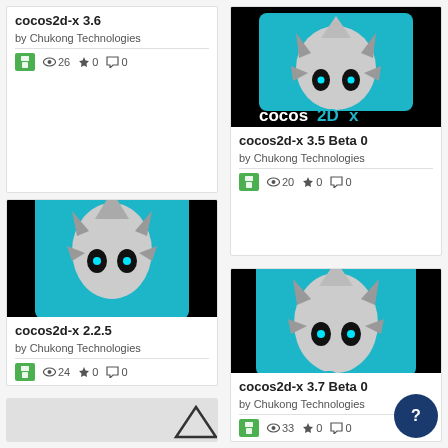[Figure (screenshot): Card showing cocos2d-x 3.6 by Chukong Technologies with save(26), views(0), stars(0), comments(0) stats]
[Figure (screenshot): Card showing cocos2d-x 3.5 Beta 0 by Chukong Technologies with logo image, save(20), views(0), stars(0), comments(0) stats]
[Figure (screenshot): Card showing cocos2d-x 2.2.5 by Chukong Technologies with cocos2d-x logo image, save(24), views(0), stars(0), comments(0) stats]
[Figure (screenshot): Card showing cocos2d-x 3.7 Beta 0 by Chukong Technologies with cocos2d-x logo image, save(33), views(0), stars(0), comments(0) stats]